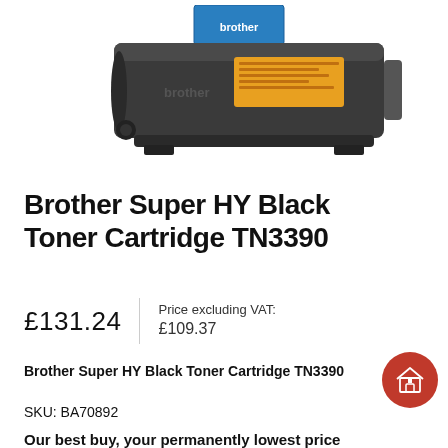[Figure (photo): Brother Super HY Black Toner Cartridge TN3390 product photo showing black toner cartridge with blue and white packaging box visible at top]
Brother Super HY Black Toner Cartridge TN3390
£131.24 | Price excluding VAT: £109.37
Brother Super HY Black Toner Cartridge TN3390
SKU: BA70892
Our best buy, your permanently lowest price